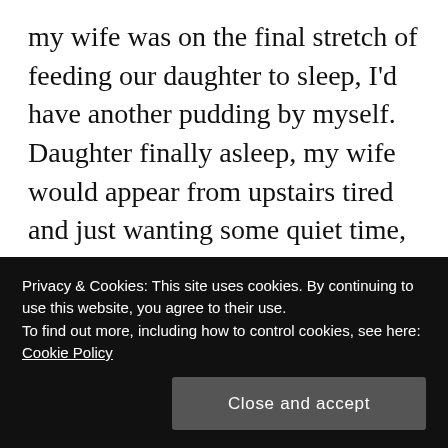my wife was on the final stretch of feeding our daughter to sleep, I'd have another pudding by myself. Daughter finally asleep, my wife would appear from upstairs tired and just wanting some quiet time, I'd gleefully ask if she'd like pudding. Sometimes she did. Even if she didn't, I'd be crushing meringues into my face.

We'd set up the spare room for me to recover in after the biopsy. Little did I know it would become a den for the overnight consumption of an extra couple of thousand calories a night. The steroids kept me awake
Privacy & Cookies: This site uses cookies. By continuing to use this website, you agree to their use.
To find out more, including how to control cookies, see here: Cookie Policy
Close and accept
restlessness, aided only by iced water and biscuits. It